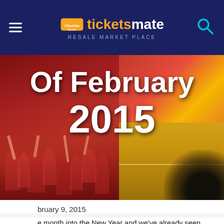ticketsmate RESALE MARKET PLACE
[Figure (photo): Hero banner image with text 'Of February 2015' overlaid on a red background with a crowd on the left and a basketball court on the right]
February 9, 2015
e month into the New Year and we've already seen some of the st shows, events and concerts around the US. February started h the headline of New England Patriots winnings the Super Bowl. keep that hype up, we're giving you a list of other notable event turing this month. Here's who will be…